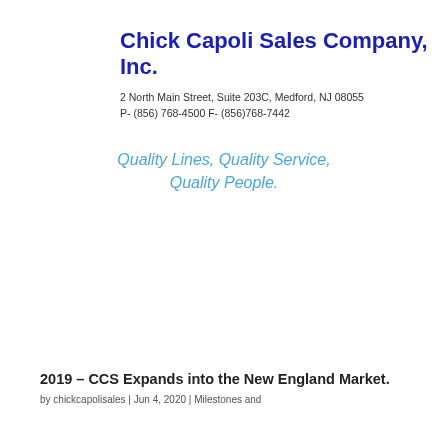Chick Capoli Sales Company, Inc.
2 North Main Street, Suite 203C, Medford, NJ 08055
P- (856) 768-4500 F- (856)768-7442
Quality Lines, Quality Service, Quality People.
[Figure (screenshot): Social media icons: Facebook (dark blue), Twitter (light blue), LinkedIn (teal), followed by a blue navigation bar with hamburger menu icon]
2019 – CCS Expands into the New England Market.
by chickcapolisales | Jun 4, 2020 | Milestones and